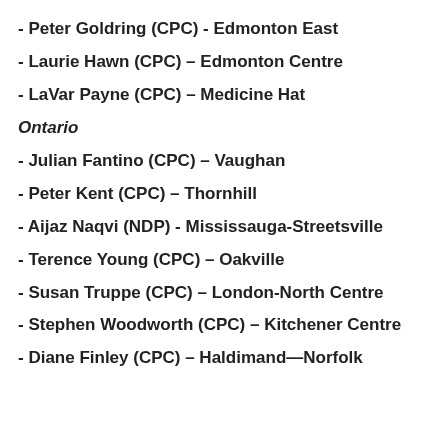- Peter Goldring (CPC) - Edmonton East
- Laurie Hawn (CPC) – Edmonton Centre
- LaVar Payne (CPC) – Medicine Hat
Ontario
- Julian Fantino (CPC) – Vaughan
- Peter Kent (CPC) – Thornhill
- Aijaz Naqvi (NDP) - Mississauga-Streetsville
- Terence Young (CPC) – Oakville
- Susan Truppe (CPC) – London-North Centre
- Stephen Woodworth (CPC) – Kitchener Centre
- Diane Finley (CPC) – Haldimand—Norfolk